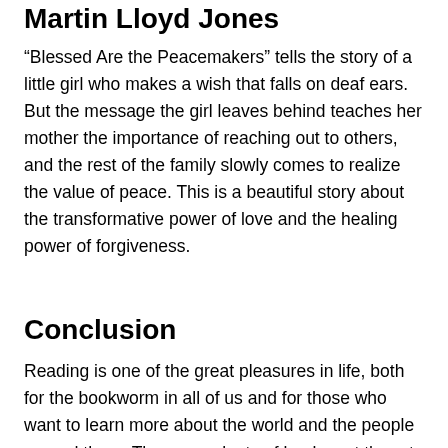Martin Lloyd Jones
“Blessed Are the Peacemakers” tells the story of a little girl who makes a wish that falls on deaf ears. But the message the girl leaves behind teaches her mother the importance of reaching out to others, and the rest of the family slowly comes to realize the value of peace. This is a beautiful story about the transformative power of love and the healing power of forgiveness.
Conclusion
Reading is one of the great pleasures in life, both for the bookworm in all of us and for those who want to learn more about the world and the people around them. There are plenty of books out there to satisfy both cravings, and the above are just a few of our favorites. Reading opens your mind and allows you to explore new ideas and concepts, both from the author’s perspective and from other cultures’ views. Books can also be a great source of inspiration, and many of the above are excellent sources of both